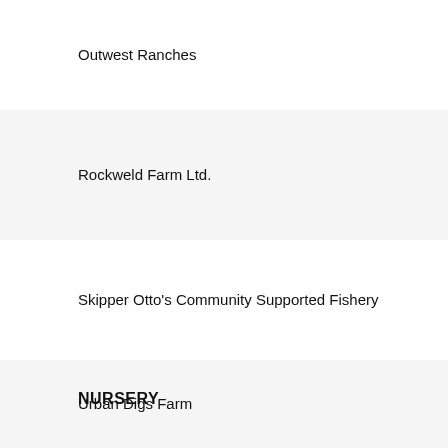Outwest Ranches
Rockweld Farm Ltd.
Skipper Otto's Community Supported Fishery
Urban Digs Farm
NURSERY